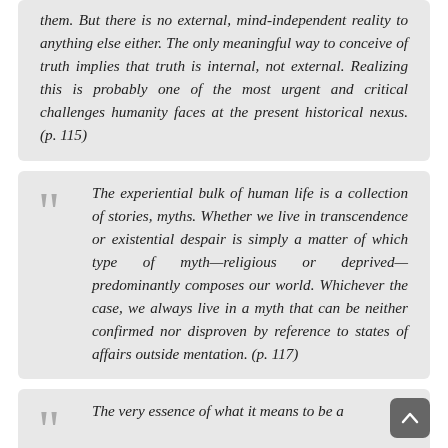them. But there is no external, mind-independent reality to anything else either. The only meaningful way to conceive of truth implies that truth is internal, not external. Realizing this is probably one of the most urgent and critical challenges humanity faces at the present historical nexus. (p. 115)
The experiential bulk of human life is a collection of stories, myths. Whether we live in transcendence or existential despair is simply a matter of which type of myth—religious or deprived—predominantly composes our world. Whichever the case, we always live in a myth that can be neither confirmed nor disproven by reference to states of affairs outside mentation. (p. 117)
The very essence of what it means to be a